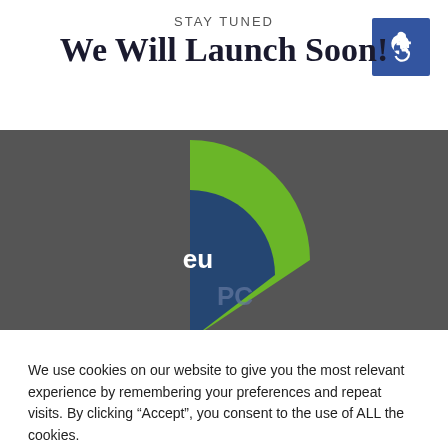[Figure (logo): Accessibility icon — white wheelchair symbol on blue square background]
STAY TUNED
We Will Launch Soon!
[Figure (logo): euPC logo — green and blue partial circle/pie shape with 'eu' and 'PC' text on dark grey banner background]
We use cookies on our website to give you the most relevant experience by remembering your preferences and repeat visits. By clicking “Accept”, you consent to the use of ALL the cookies.
Cookie settings
ACCEPT